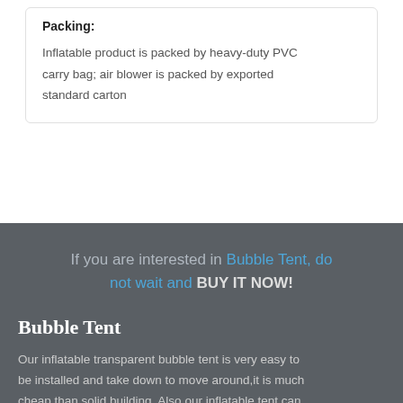Packing:
Inflatable product is packed by heavy-duty PVC carry bag; air blower is packed by exported standard carton
If you are interested in Bubble Tent, do not wait and BUY IT NOW!
Bubble Tent
Our inflatable transparent bubble tent is very easy to be installed and take down to move around,it is much cheap than solid building. Also our inflatable tent can